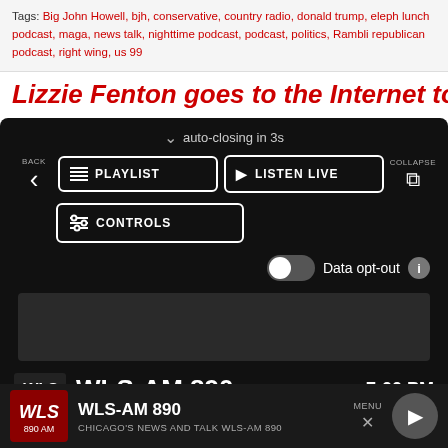Tags: Big John Howell, bjh, conservative, country radio, donald trump, eleph lunch podcast, maga, news talk, nighttime podcast, podcast, politics, Rambli republican podcast, right wing, us 99
Lizzie Fenton goes to the Internet to try to ge
[Figure (screenshot): Audio player widget with dark background showing: auto-closing in 3s, BACK button with left arrow, PLAYLIST button, LISTEN LIVE button, COLLAPSE button, CONTROLS button, Data opt-out toggle, ad box, WLS-AM 890 station bar with 7:00 PM time, bottom bar with WLS logo, WLS-AM 890, CHICAGO'S NEWS AND TALK WLS-AM 890, MENU, X, and play button]